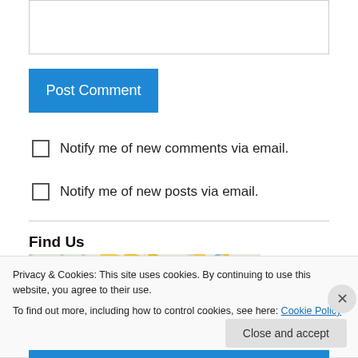[Figure (other): Text input area (comment box) with border]
Post Comment
Notify me of new comments via email.
Notify me of new posts via email.
Find Us
[Figure (map): Google Maps snippet showing street map with yellow and blue road markings]
Privacy & Cookies: This site uses cookies. By continuing to use this website, you agree to their use.
To find out more, including how to control cookies, see here: Cookie Policy
Close and accept